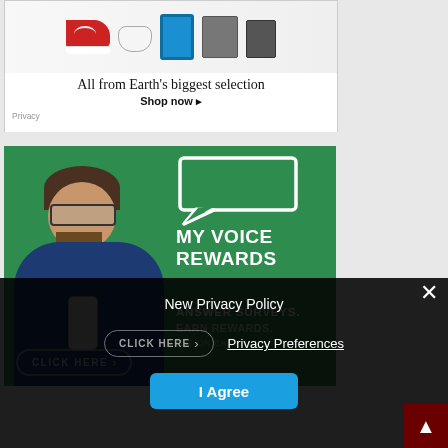[Figure (screenshot): Amazon advertisement showing products (red sneaker, game controller, tablet, appliance) with text 'All from Earth's biggest selection' and 'Shop now ▸'. Small 'Privacy' text in bottom left corner.]
[Figure (screenshot): My Voice Rewards advertisement on green background. Shows a man with glasses and beard looking at a phone. Text reads: 'MY VOICE REWARDS', 'ANSWER SURVEYS.', 'EARN REWARDS.', with a 'CLICK HERE' pill button.]
[Figure (screenshot): Dark semi-transparent overlay with cookie/privacy consent modal. Shows 'New Privacy Policy' text, a 'CLICK HERE' pill button, 'Privacy Preferences' link, an 'I Agree' blue button, and a close (×) button.]